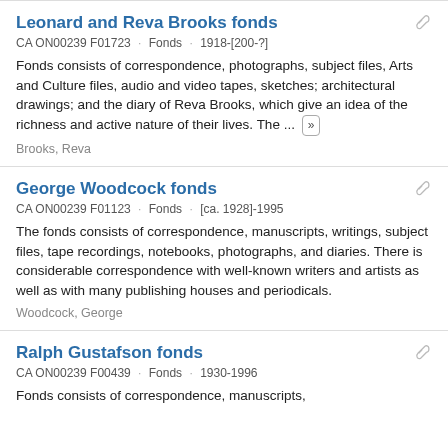Leonard and Reva Brooks fonds
CA ON00239 F01723 · Fonds · 1918-[200-?]
Fonds consists of correspondence, photographs, subject files, Arts and Culture files, audio and video tapes, sketches; architectural drawings; and the diary of Reva Brooks, which give an idea of the richness and active nature of their lives. The ...
Brooks, Reva
George Woodcock fonds
CA ON00239 F01123 · Fonds · [ca. 1928]-1995
The fonds consists of correspondence, manuscripts, writings, subject files, tape recordings, notebooks, photographs, and diaries. There is considerable correspondence with well-known writers and artists as well as with many publishing houses and periodicals.
Woodcock, George
Ralph Gustafson fonds
CA ON00239 F00439 · Fonds · 1930-1996
Fonds consists of correspondence, manuscripts,